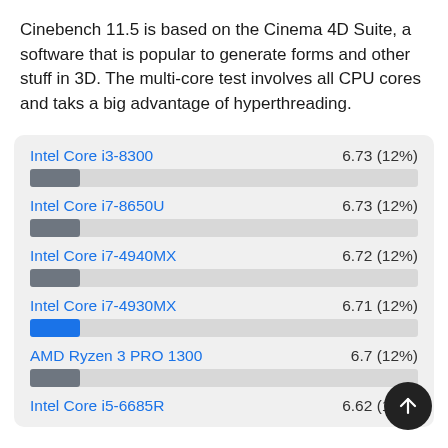Cinebench 11.5 is based on the Cinema 4D Suite, a software that is popular to generate forms and other stuff in 3D. The multi-core test involves all CPU cores and taks a big advantage of hyperthreading.
[Figure (bar-chart): ]